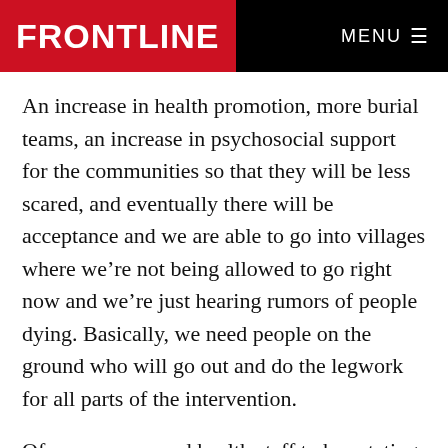FRONTLINE | MENU
An increase in health promotion, more burial teams, an increase in psychosocial support for the communities so that they will be less scared, and eventually there will be acceptance and we are able to go into villages where we’re not being allowed to go right now and we’re just hearing rumors of people dying. Basically, we need people on the ground who will go out and do the legwork for all parts of the intervention.
Of course, we need health staff to be rotating with the staff that’s already there working